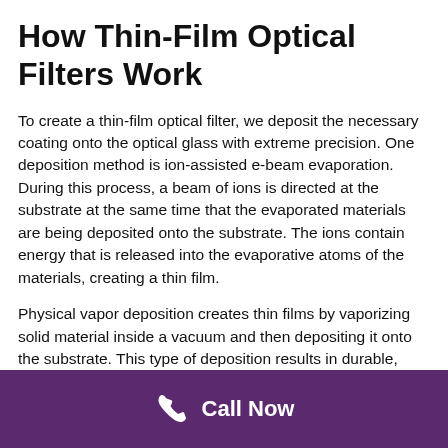How Thin-Film Optical Filters Work
To create a thin-film optical filter, we deposit the necessary coating onto the optical glass with extreme precision. One deposition method is ion-assisted e-beam evaporation. During this process, a beam of ions is directed at the substrate at the same time that the evaporated materials are being deposited onto the substrate. The ions contain energy that is released into the evaporative atoms of the materials, creating a thin film.
Physical vapor deposition creates thin films by vaporizing solid material inside a vacuum and then depositing it onto the substrate. This type of deposition results in durable, scratch-resistant coatings. They can also withstand high temperatures.
The specific thickness and number of coatings will affect the wavelength of light that passes through the filter. These methods, along with others, create durable coatings to
Call Now